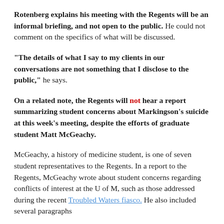Rotenberg explains his meeting with the Regents will be an informal briefing, and not open to the public. He could not comment on the specifics of what will be discussed.
"The details of what I say to my clients in our conversations are not something that I disclose to the public," he says.
On a related note, the Regents will not hear a report summarizing student concerns about Markingson's suicide at this week's meeting, despite the efforts of graduate student Matt McGeachy.
McGeachy, a history of medicine student, is one of seven student representatives to the Regents. In a report to the Regents, McGeachy wrote about student concerns regarding conflicts of interest at the U of M, such as those addressed during the recent Troubled Waters fiasco. He also included several paragraphs